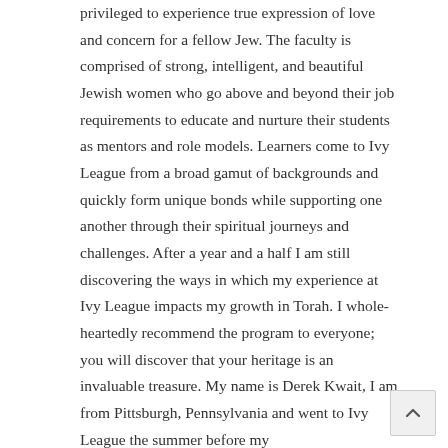privileged to experience true expression of love and concern for a fellow Jew. The faculty is comprised of strong, intelligent, and beautiful Jewish women who go above and beyond their job requirements to educate and nurture their students as mentors and role models. Learners come to Ivy League from a broad gamut of backgrounds and quickly form unique bonds while supporting one another through their spiritual journeys and challenges. After a year and a half I am still discovering the ways in which my experience at Ivy League impacts my growth in Torah. I whole-heartedly recommend the program to everyone; you will discover that your heritage is an invaluable treasure. My name is Derek Kwait, I am from Pittsburgh, Pennsylvania and went to Ivy League the summer before my